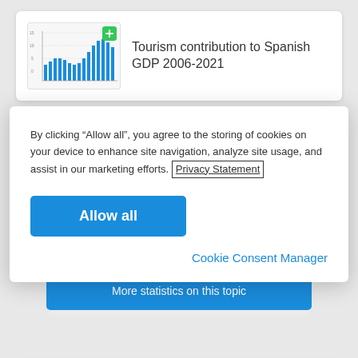[Figure (screenshot): A website screenshot showing a bar chart thumbnail for 'Tourism contribution to Spanish GDP 2006-2021' with a green plus icon, partially obscured by a cookie consent modal dialog. The modal has text about cookies, a 'Privacy Statement' link with a box around it, an 'Allow all' blue button, and a 'Cookie Consent Manager' link. Below is a blue 'More statistics on this topic' button.]
Tourism contribution to Spanish GDP 2006-2021
By clicking “Allow all”, you agree to the storing of cookies on your device to enhance site navigation, analyze site usage, and assist in our marketing efforts. Privacy Statement
Allow all
Cookie Consent Manager
More statistics on this topic